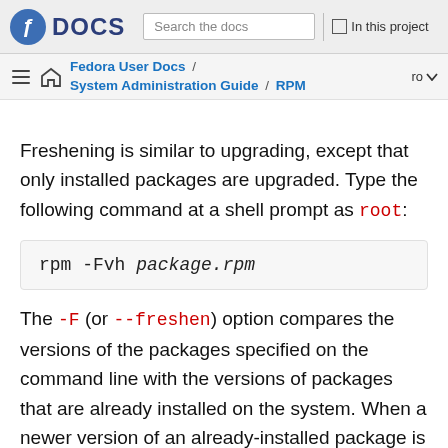Fedora DOCS | Search the docs | In this project
Fedora User Docs / System Administration Guide / RPM    ro
Freshening is similar to upgrading, except that only installed packages are upgraded. Type the following command at a shell prompt as root:
The -F (or --freshen) option compares the versions of the packages specified on the command line with the versions of packages that are already installed on the system. When a newer version of an already-installed package is processed by the --freshen option, it is upgraded